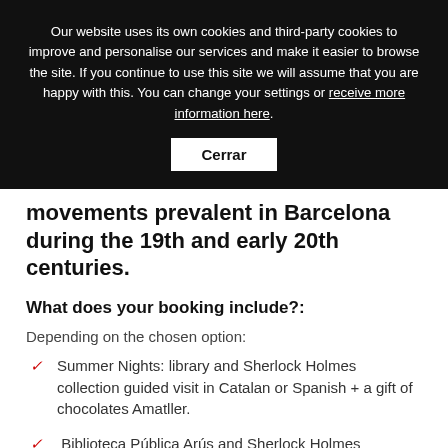Our website uses its own cookies and third-party cookies to improve and personalise our services and make it easier to browse the site. If you continue to use this site we will assume that you are happy with this. You can change your settings or receive more information here.
Cerrar
movements prevalent in Barcelona during the 19th and early 20th centuries.
What does your booking include?:
Depending on the chosen option:
Summer Nights: library and Sherlock Holmes collection guided visit in Catalan or Spanish + a gift of chocolates Amatller.
Biblioteca Pública Arús and Sherlock Holmes collection guided tour.